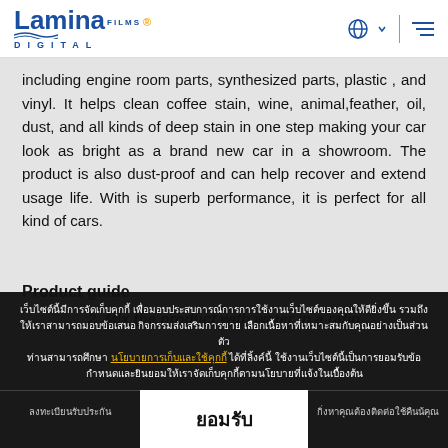Lamina FILMS DIGITAL
including engine room parts, synthesized parts, plastic , and vinyl. It helps clean coffee stain, wine, animal,feather, oil, dust, and all kinds of deep stain in one step making your car look as bright as a brand new car in a showroom. The product is also dust-proof and can help recover and extend usage life. With is superb performance, it is perfect for all kind of cars.
Product guide
2. Mix the product with water in a ratio
เว็บไซต์นี้มีการจัดเก็บคุกกี้ เพื่อมอบประสบการณ์การการใช้งานเว็บไซต์ของคุณให้ดียิ่งขึ้น รวมถึงให้เราสามารถมอบข้อเสนอ กิจกรรมส่งเสริมการขาย เลือกเนื้อหาที่เหมาะสมกับคุณอย่างเป็นส่วนตัว ท่านสามารถศึกษา นโยบายการเก็บและใช้คุกกี้ ได้ที่ลิ้งค์นี้ ใช้งานเว็บไซต์นี้เป็นการยอมรับข้อกำหนดและยินยอมให้เราจัดเก็บคุกกี้ตามนโยบายที่แจ้งในเบื้องต้น
ลงทะเบียนรับประกัน
ยอมรับ
กิ่งหาคุณต้องติดต่อใช้คืนน้คุณ